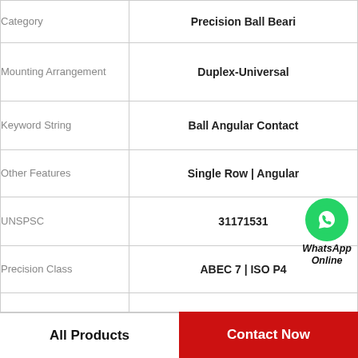| Attribute | Value |
| --- | --- |
| Category | Precision Ball Beari |
| Mounting Arrangement | Duplex-Universal |
| Keyword String | Ball Angular Contact |
| Other Features | Single Row | Angular |
| UNSPSC | 31171531 |
| Precision Class | ABEC 7 | ISO P4 |
| Inch - Metric | Metric |
| Product Group | B04270 |
WhatsApp Online
All Products   Contact Now